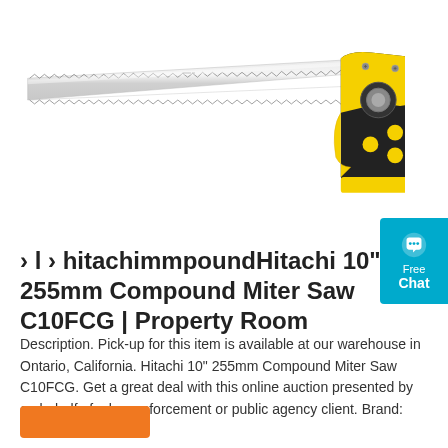[Figure (photo): A hand saw with a long silver serrated blade and a yellow and black ergonomic pistol-grip handle]
[Figure (infographic): Cyan/teal chat widget button with speech bubble icon, labeled 'Free Chat']
› l › hitachimmpoundHitachi 10" 255mm Compound Miter Saw C10FCG | Property Room
Description. Pick-up for this item is available at our warehouse in Ontario, California. Hitachi 10" 255mm Compound Miter Saw C10FCG. Get a great deal with this online auction presented by on behalf of a law enforcement or public agency client. Brand: hitachi.